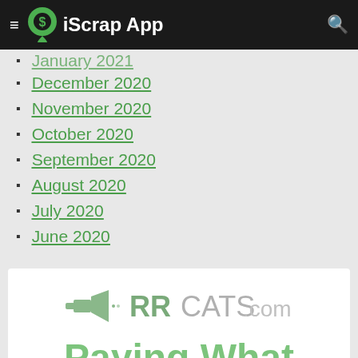iScrap App
January 2021 (partially visible)
December 2020
November 2020
October 2020
September 2020
August 2020
July 2020
June 2020
[Figure (logo): RRCats.com logo with megaphone icon]
Paying What